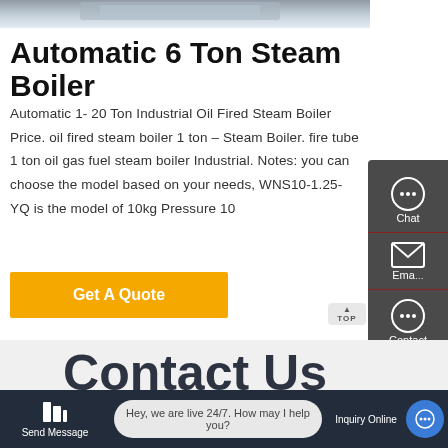[Figure (photo): Top portion of a steam boiler product image, partially visible]
Automatic 6 Ton Steam Boiler
Automatic 1- 20 Ton Industrial Oil Fired Steam Boiler Price. oil fired steam boiler 1 ton – Steam Boiler. fire tube 1 ton oil gas fuel steam boiler Industrial. Notes: you can choose the model based on your needs, WNS10-1.25-YQ is the model of 10kg Pressure 10
Get A Quote
[Figure (infographic): Right sidebar with Chat, Email, and Contact icons on dark gray background]
Contact Us
Hey, we are live 24/7. How may I help you?
Send Message   Inquiry Online